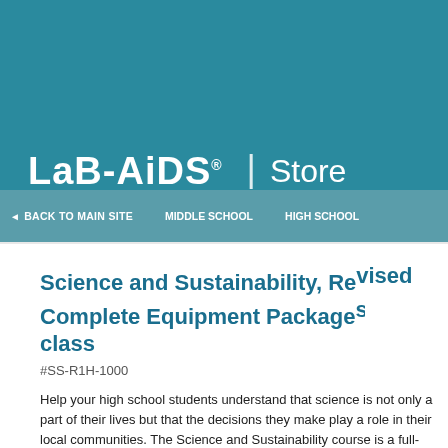[Figure (logo): Lab-Aids Store logo on teal background header]
◄ BACK TO MAIN SITE   MIDDLE SCHOOL   HIGH SCHOOL
Science and Sustainability, Revised Complete Equipment Package for class
#SS-R1H-1000
Help your high school students understand that science is not only a part of their lives but that the decisions they make play a role in their local communities. The Science and Sustainability course is a full-year course that uses themes and activities related to local and global issues to teach concepts from the life, earth, chemical, and physical sciences.
Sustainability refers to the ability of populations of living organisms to